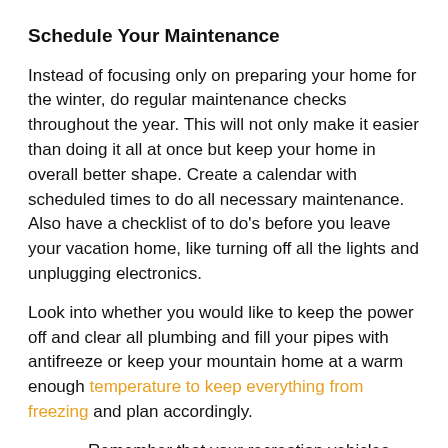Schedule Your Maintenance
Instead of focusing only on preparing your home for the winter, do regular maintenance checks throughout the year. This will not only make it easier than doing it all at once but keep your home in overall better shape. Create a calendar with scheduled times to do all necessary maintenance. Also have a checklist of to do's before you leave your vacation home, like turning off all the lights and unplugging electronics.
Look into whether you would like to keep the power off and clear all plumbing and fill your pipes with antifreeze or keep your mountain home at a warm enough temperature to keep everything from freezing and plan accordingly.
Remember that your recreation vehicles and supplies require regular maintenance as well, especially since they may go unused for much of the year.
There are some tasks mentioned above (plan those in